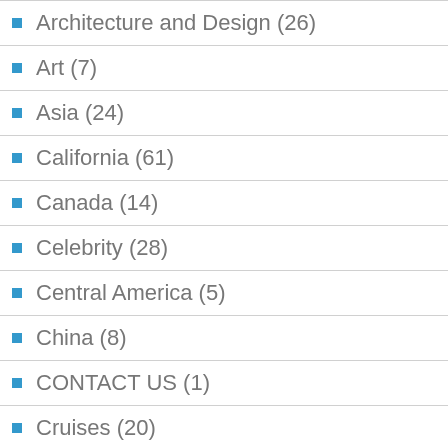Architecture and Design (26)
Art (7)
Asia (24)
California (61)
Canada (14)
Celebrity (28)
Central America (5)
China (8)
CONTACT US (1)
Cruises (20)
Deals (62)
Design (8)
Discount travel online service (8)